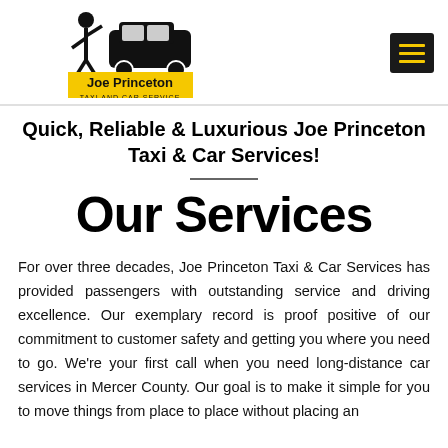Joe Princeton Taxi and Car Service
Quick, Reliable & Luxurious Joe Princeton Taxi & Car Services!
Our Services
For over three decades, Joe Princeton Taxi & Car Services has provided passengers with outstanding service and driving excellence. Our exemplary record is proof positive of our commitment to customer safety and getting you where you need to go. We're your first call when you need long-distance car services in Mercer County. Our goal is to make it simple for you to move things from place to place without placing an